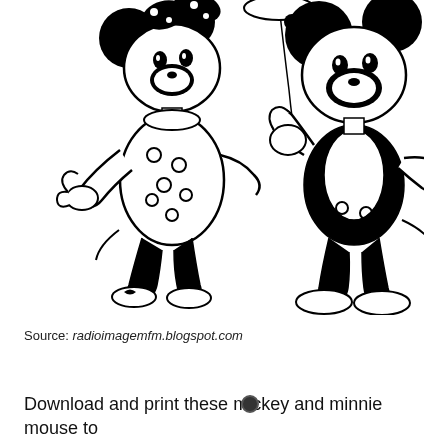[Figure (illustration): Black and white line drawing of Minnie Mouse and Mickey Mouse. Minnie is on the left wearing a polka-dot dress and bow, gesturing with one hand. Mickey is on the right holding a balloon string, smiling. A balloon is partially visible at the top center.]
Source: radioimagemfm.blogspot.com
Download and print these mickey and minnie mouse to